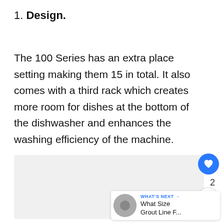1. Design.
The 100 Series has an extra place setting making them 15 in total. It also comes with a third rack which creates more room for dishes at the bottom of the dishwasher and enhances the washing efficiency of the machine.
[Figure (other): Gray placeholder image area below the main text]
[Figure (other): UI overlay with heart/like button showing count 2, share button, and What's Next widget showing 'What Size Grout Line F...']